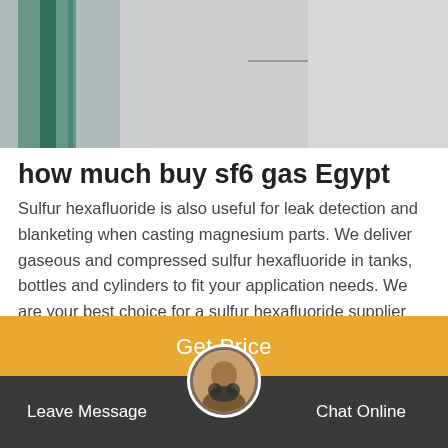[Figure (photo): Photo banner showing industrial/warehouse interior with teal/green structural elements and gray walls]
how much buy sf6 gas Egypt
Sulfur hexafluoride is also useful for leak detection and blanketing when casting magnesium parts. We deliver gaseous and compressed sulfur hexafluoride in tanks, bottles and cylinders to fit your application needs. We are your best choice for a sulfur hexafluoride supplier because we have a large inventory, manufacturing capabilities and
Get Price
Leave Message   Chat Online